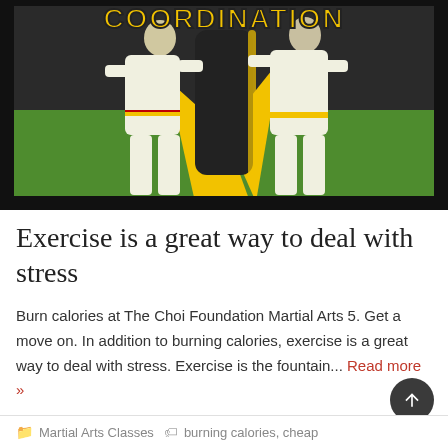[Figure (photo): Martial arts students in white gi uniforms practicing karate against a punching bag, with yellow 'COORDINATION' text overlay and yellow/black border design]
Exercise is a great way to deal with stress
Burn calories at The Choi Foundation Martial Arts 5. Get a move on. In addition to burning calories, exercise is a great way to deal with stress. Exercise is the fountain... Read more »
Martial Arts Classes   burning calories, cheap